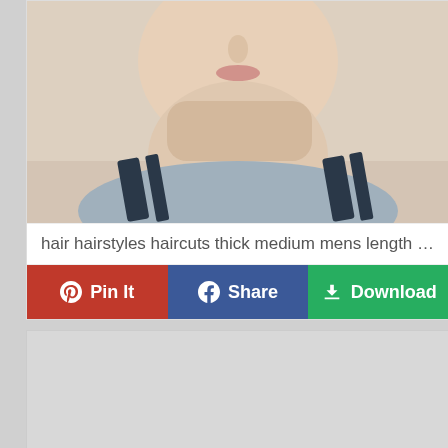[Figure (photo): Close-up photo of a man's lower face and neck showing stubble beard, wearing a grey striped t-shirt. Background is light beige/cream.]
hair hairstyles haircuts thick medium mens length boys...
Pin It  Share  Download
[Figure (other): Advertisement placeholder area (light grey rectangle)]